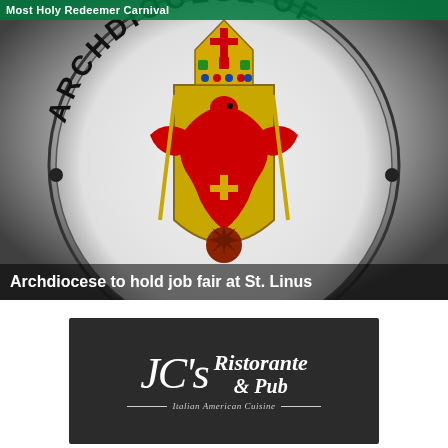[Figure (photo): Archdiocese seal/logo — circular emblem with heraldic eagle and bishop's mitre on grey gradient background, with text arcing around circle reading ARCHDIOCESE OF]
Most Holy Redeemer Carnival
Archdiocese to hold job fair at St. Linus
[Figure (logo): JC's Ristorante & Pub — Italian American Cuisine advertisement on dark background with script lettering]